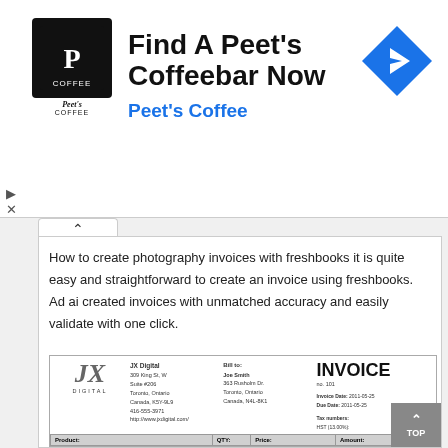[Figure (other): Peet's Coffee advertisement banner with logo, text 'Find A Peet's Coffeebar Now', subtext 'Peet's Coffee', and a blue navigation arrow icon]
How to create photography invoices with freshbooks it is quite easy and straightforward to create an invoice using freshbooks. Ad ai created invoices with unmatched accuracy and easily validate with one click.
[Figure (other): Invoice preview showing JX Digital company, billed to Joe Smith, Invoice no. 101, dated 2011-05-25, due 2011-05-25, with table of Engagement Photos ($500.00) and Rental equipment ($200.00), subtotal $700.00, HST $91.00, Total with tax $791.00]